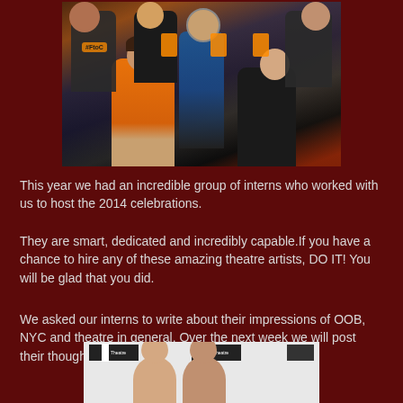[Figure (photo): Group photo of interns holding signs and cutouts at what appears to be an outdoor event, with people in black t-shirts with hashtag text]
This year we had an incredible group of interns who worked with us to host the 2014 celebrations.
They are smart, dedicated and incredibly capable.If you have a chance to hire any of these amazing theatre artists, DO IT! You will be glad that you did.
We asked our interns to write about their impressions of OOB, NYC and theatre in general. Over the next week we will post their thoughts.
[Figure (photo): Two people posing in front of a step-and-repeat banner with logos, at what appears to be a theatre event]